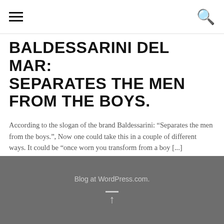BALDESSARINI DEL MAR: SEPARATES THE MEN FROM THE BOYS.
BALDESSARINI DEL MAR: SEPARATES THE MEN FROM THE BOYS.
According to the slogan of the brand Baldessarini: “Separates the men from the boys.”, Now one could take this in a couple of different ways. It could be “once worn you transform from a boy [...]
Blog at WordPress.com.